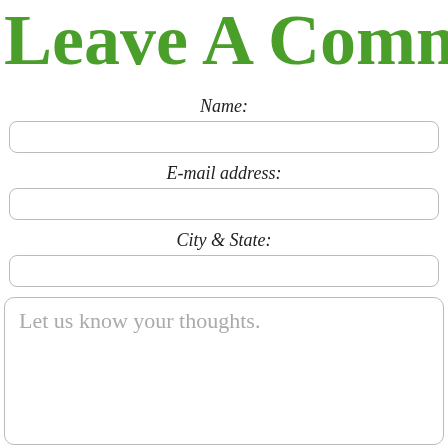Leave A Comm
Name:
E-mail address:
City & State:
Let us know your thoughts.